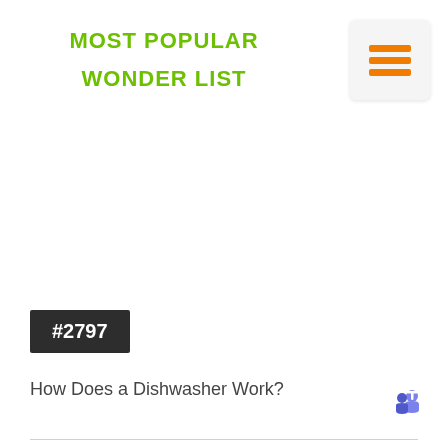MOST POPULAR
WONDER LIST
[Figure (illustration): Hamburger menu icon with three horizontal orange lines on a light gray rounded box background]
[Figure (other): Large blank/white space placeholder image area]
#2797
How Does a Dishwasher Work?
[Figure (logo): Microsoft Teams logo icon, purple/blue colored T with layered people silhouettes]